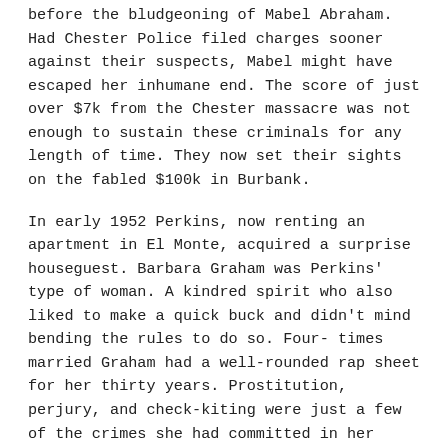before the bludgeoning of Mabel Abraham. Had Chester Police filed charges sooner against their suspects, Mabel might have escaped her inhumane end. The score of just over $7k from the Chester massacre was not enough to sustain these criminals for any length of time. They now set their sights on the fabled $100k in Burbank.
In early 1952 Perkins, now renting an apartment in El Monte, acquired a surprise houseguest. Barbara Graham was Perkins' type of woman. A kindred spirit who also liked to make a quick buck and didn't mind bending the rules to do so. Four- times married Graham had a well-rounded rap sheet for her thirty years. Prostitution, perjury, and check-kiting were just a few of the crimes she had committed in her